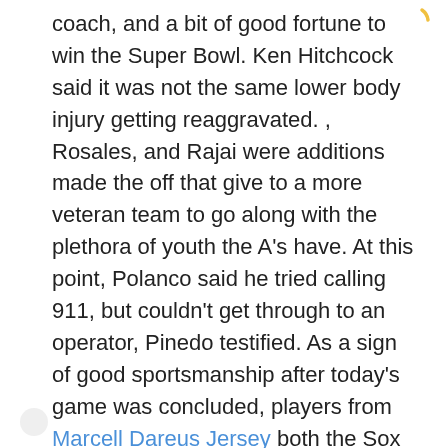coach, and a bit of good fortune to win the Super Bowl. Ken Hitchcock said it was not the same lower body injury getting reaggravated. , Rosales, and Rajai were additions made the off that give to a more veteran team to go along with the plethora of youth the A's have. At this point, Polanco said he tried calling 911, but couldn't get through to an operator, Pinedo testified. As a sign of good sportsmanship after today's game was concluded, players from Marcell Dareus Jersey both the Sox and Cubs hugged and high fived each other a very hilarious and entertaining battle The south side Baseball Jerseys Custom rose to the occasion and claimed victory over the north siders today.
is a graduate of Northwestern University, where he spent his college years watching the losingest team the history of Division I-A football. What they cannot do is play the